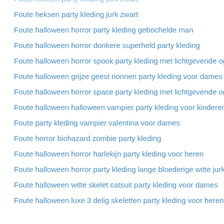Foute heksen party kleding jurk zwart
Foute heksen party kleding jurk zwart
Foute halloween horror party kleding gebochelde man
Foute halloween horror donkere superheld party kleding
Foute halloween horror spook party kleding met lichtgevende ogen
Foute halloween grijze geest nonnen party kleding voor dames
Foute halloween horror space party kleding met lichtgevende ogen
Foute halloween halloween vampier party kleding voor kinderen
Foute party kleding vampier valentina voor dames
Foute horror biohazard zombie party kleding
Foute halloween horror harlekijn party kleding voor heren
Foute halloween horror party kleding lange bloederige witte jurk
Foute halloween witte skelet catsuit party kleding voor dames
Foute halloween luxe 3 delig skeletten party kleding voor heren